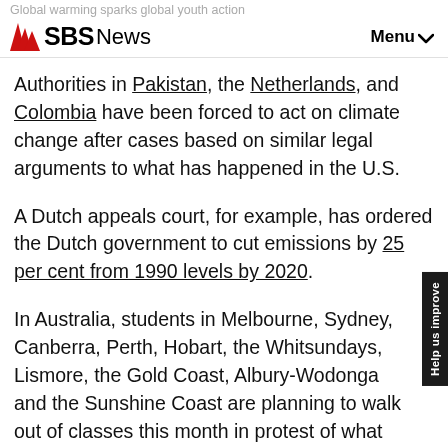Global warming sparks global youth action
SBS News  Menu
Authorities in Pakistan, the Netherlands, and Colombia have been forced to act on climate change after cases based on similar legal arguments to what has happened in the U.S.
A Dutch appeals court, for example, has ordered the Dutch government to cut emissions by 25 per cent from 1990 levels by 2020.
In Australia, students in Melbourne, Sydney, Canberra, Perth, Hobart, the Whitsundays, Lismore, the Gold Coast, Albury-Wodonga and the Sunshine Coast are planning to walk out of classes this month in protest of what they say is a failure by politicians